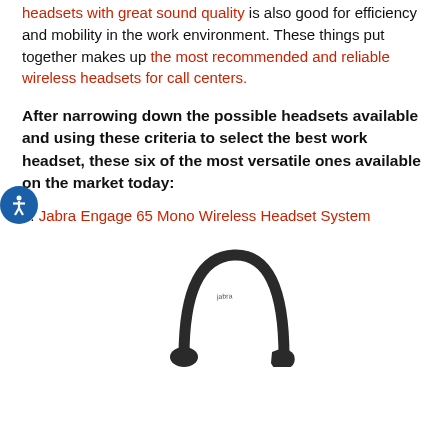headsets with great sound quality is also good for efficiency and mobility in the work environment. These things put together makes up the most recommended and reliable wireless headsets for call centers.
After narrowing down the possible headsets available and using these criteria to select the best work headset, these six of the most versatile ones available on the market today:
1. Jabra Engage 65 Mono Wireless Headset System
[Figure (photo): Photo of a Jabra wireless headset, dark colored, seen from above showing the headband arc]